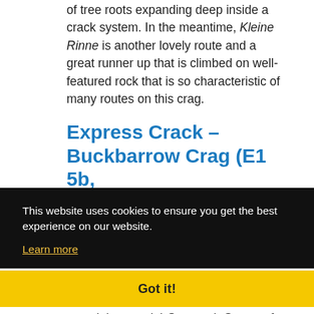of tree roots expanding deep inside a crack system. In the meantime, Kleine Rinne is another lovely route and a great runner up that is climbed on well-featured rock that is so characteristic of many routes on this crag.
Express Crack – Buckbarrow Crag (E1 5b, 22m)
This website uses cookies to ensure you get the best experience on our website.
Learn more
Got it!
own right – a mini Cenotaph Corner of